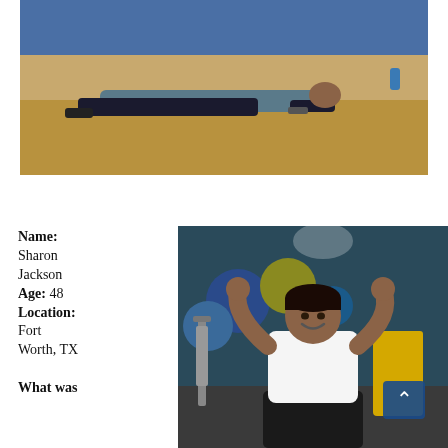[Figure (photo): Person doing a plank exercise on a gym floor, viewed from the side. They are wearing dark pants and a grey top. Gym setting with blue walls and wooden floor.]
Name: Sharon Jackson
Age: 48
Location: Fort Worth, TX

What was
[Figure (photo): Woman in a white tank top and black pants flexing both arms in a gym setting, smiling. Exercise equipment and colorful stability balls visible in the background.]